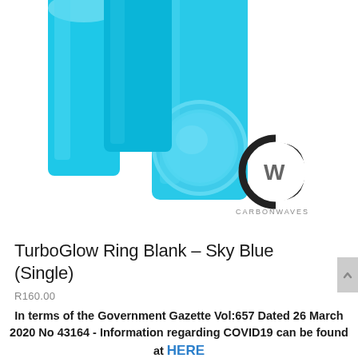[Figure (photo): Two cylindrical blue foam polishing pads (TurboGlow Ring Blanks in Sky Blue) photographed on a white background, with Carbonwaves logo visible in lower right area of the image.]
TurboGlow Ring Blank – Sky Blue (Single)
R160.00
In terms of the Government Gazette Vol:657 Dated 26 March 2020 No 43164 - Information regarding COVID19 can be found at HERE